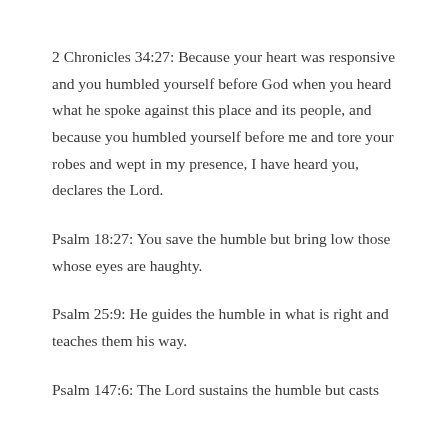2 Chronicles 34:27: Because your heart was responsive and you humbled yourself before God when you heard what he spoke against this place and its people, and because you humbled yourself before me and tore your robes and wept in my presence, I have heard you, declares the Lord.
Psalm 18:27: You save the humble but bring low those whose eyes are haughty.
Psalm 25:9: He guides the humble in what is right and teaches them his way.
Psalm 147:6: The Lord sustains the humble but casts